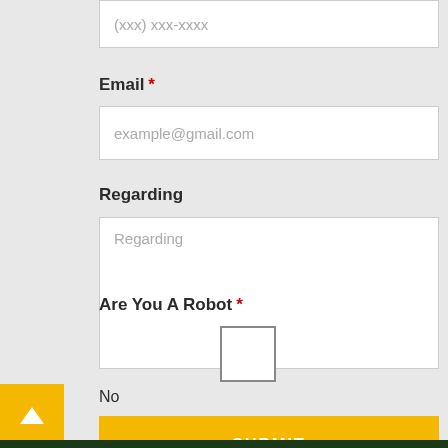(xxx) xxx-xxxx
Email *
example@gmail.com
Regarding
Regarding
Are You A Robot *
No
SUBMIT